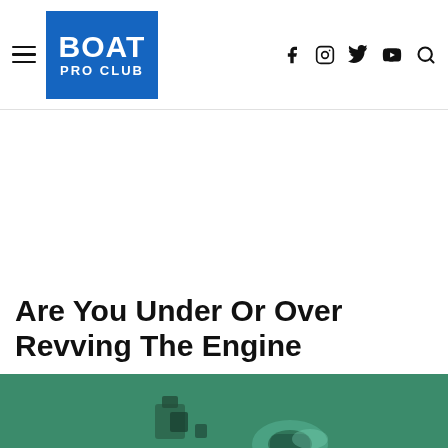BOAT PRO CLUB
Are You Under Or Over Revving The Engine
[Figure (photo): Underwater or greenish-toned photo of a boat engine or propeller mechanism]